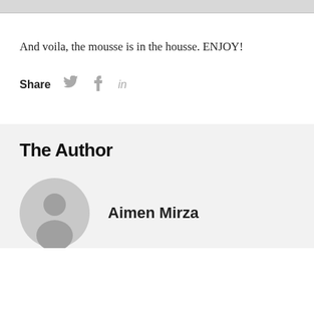[Figure (photo): Top portion of an image, partially visible, light gray background]
And voila, the mousse is in the housse. ENJOY!
Share [Twitter icon] [Facebook icon] [LinkedIn icon]
The Author
Aimen Mirza